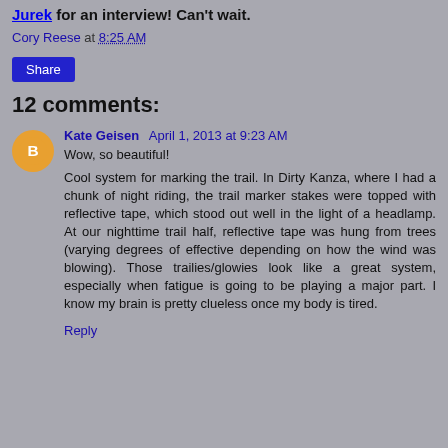Jurek for an interview! Can't wait.
Cory Reese at 8:25 AM
Share
12 comments:
Kate Geisen April 1, 2013 at 9:23 AM
Wow, so beautiful!

Cool system for marking the trail. In Dirty Kanza, where I had a chunk of night riding, the trail marker stakes were topped with reflective tape, which stood out well in the light of a headlamp. At our nighttime trail half, reflective tape was hung from trees (varying degrees of effective depending on how the wind was blowing). Those trailies/glowies look like a great system, especially when fatigue is going to be playing a major part. I know my brain is pretty clueless once my body is tired.
Reply